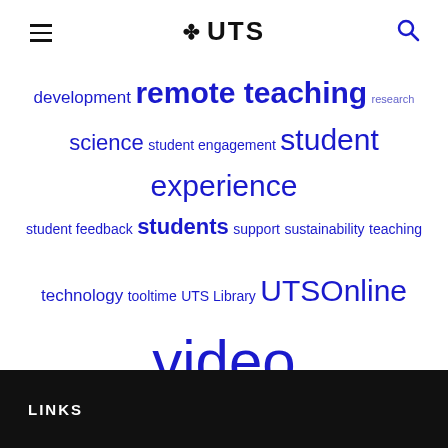UTS
development remote teaching research science student engagement student experience student feedback students support sustainability teaching technology tooltime UTS Library UTSOnline video zoom
LINKS